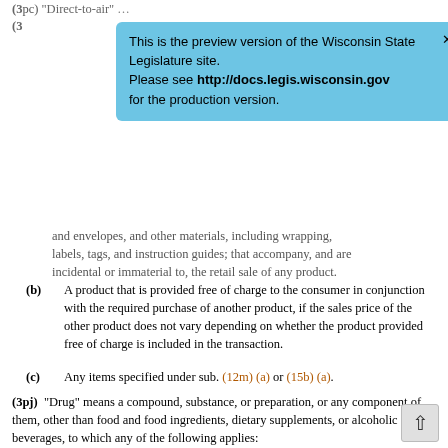(3pc) “Direct-to-air” … [partially visible, cropped by banner]
(3 … [partially visible, cropped by banner]
[Figure (screenshot): Blue preview banner: 'This is the preview version of the Wisconsin State Legislature site. Please see http://docs.legis.wisconsin.gov for the production version.']
and envelopes, and other materials, including wrapping, labels, tags, and instruction guides; that accompany, and are incidental or immaterial to, the retail sale of any product.
(b) A product that is provided free of charge to the consumer in conjunction with the required purchase of another product, if the sales price of the other product does not vary depending on whether the product provided free of charge is included in the transaction.
(c) Any items specified under sub. (12m) (a) or (15b) (a).
(3pj) “Drug” means a compound, substance, or preparation, or any component of them, other than food and food ingredients, dietary supplements, or alcoholic beverages, to which any of the following applies:
(a) It is listed in the United States Pharmacopoeia, Homeopathic Pharmacopoeia of the United States, or National Formulary, or any supplement to any of them.
(b) It is intended for use in diagnosing, curing, mitigating, treating, or preventing a disease.
(c) It is intended to affect a function or structure of the body. [partially visible]